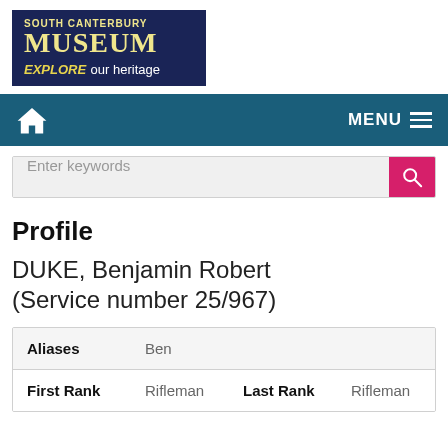[Figure (logo): South Canterbury Museum logo — dark navy background with 'SOUTH CANTERBURY' in small yellow letters, 'MUSEUM' in large serif yellow font, and 'EXPLORE our heritage' tagline below in italic yellow and white.]
MENU
Enter keywords
Profile
DUKE, Benjamin Robert (Service number 25/967)
| Aliases | Ben |  |  |
| First Rank | Rifleman | Last Rank | Rifleman |